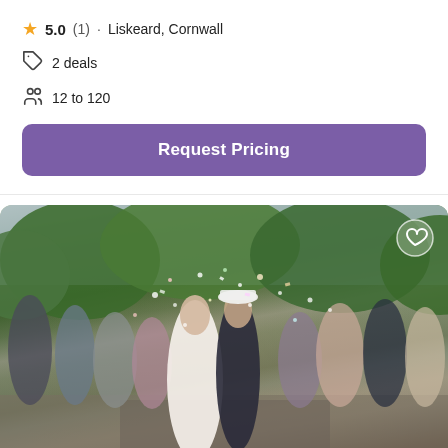5.0 (1) · Liskeard, Cornwall
2 deals
12 to 120
Request Pricing
[Figure (photo): Wedding photo showing a bride and groom kissing while guests throw confetti outdoors, surrounded by greenery. A heart/favorite icon is in the top right corner. Five pagination dots appear at the bottom.]